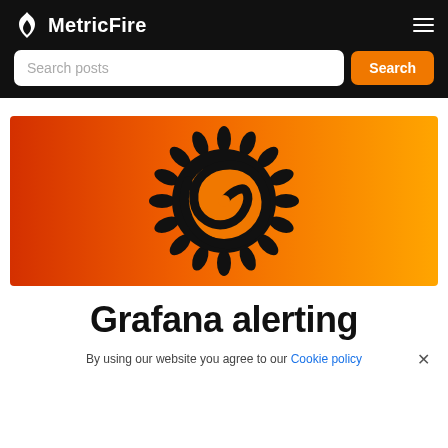MetricFire
[Figure (illustration): MetricFire logo: white flame icon followed by bold white text 'MetricFire' on black background]
[Figure (illustration): Search bar input field with placeholder 'Search posts' and orange Search button]
[Figure (illustration): Orange-to-yellow gradient banner image with a large black Grafana spiral sun logo centered on it]
Grafana alerting
By using our website you agree to our Cookie policy